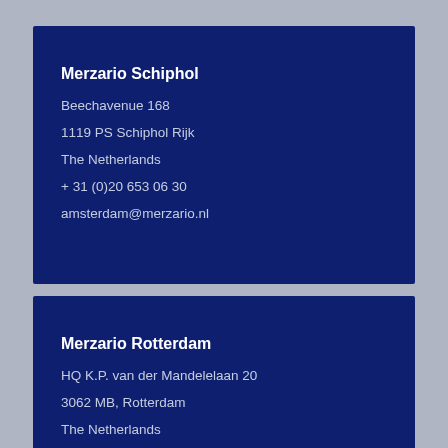Merzario Schiphol
Beechavenue 168
1119 PS Schiphol Rijk
The Netherlands
+ 31 (0)20 653 06 30
amsterdam@merzario.nl
Merzario Rotterdam
HQ K.P. van der Mandelelaan 20
3062 MB, Rotterdam
The Netherlands
+31 (0)10 31 66 500
sales@merzario.nl